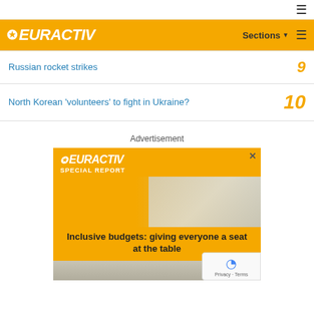EURACTIV — Sections
Russian rocket strikes
North Korean 'volunteers' to fight in Ukraine?
Advertisement
[Figure (screenshot): EURACTIV Special Report advertisement banner: 'Inclusive budgets: giving everyone a seat at the table']